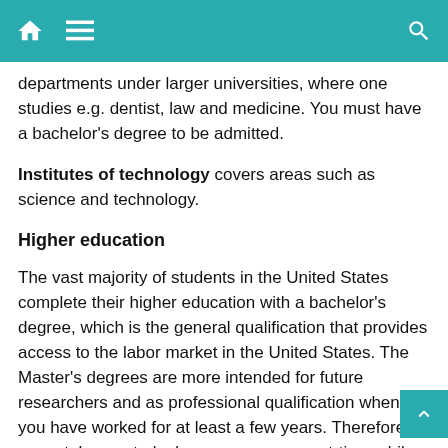Navigation header bar with home, menu, and search icons
departments under larger universities, where one studies e.g. dentist, law and medicine. You must have a bachelor's degree to be admitted.
Institutes of technology covers areas such as science and technology.
Higher education
The vast majority of students in the United States complete their higher education with a bachelor's degree, which is the general qualification that provides access to the labor market in the United States. The Master's degrees are more intended for future researchers and as professional qualification when you have worked for at least a few years. Therefore, many take master's degree programs part-time while working.
At community colleges you get an Associate Degree after 2 years of